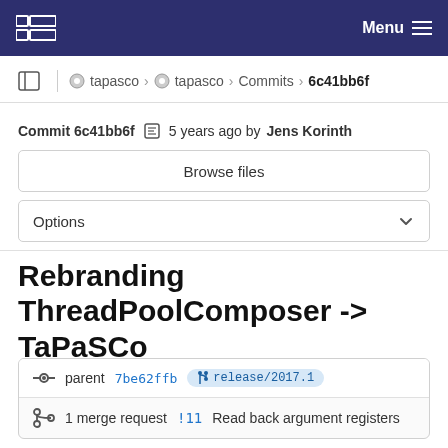Menu
tapasco › tapasco › Commits › 6c41bb6f
Commit 6c41bb6f  5 years ago by Jens Korinth
Browse files
Options
Rebranding ThreadPoolComposer -> TaPaSCo
parent 7be62ffb  release/2017.1
1 merge request !11 Read back argument registers